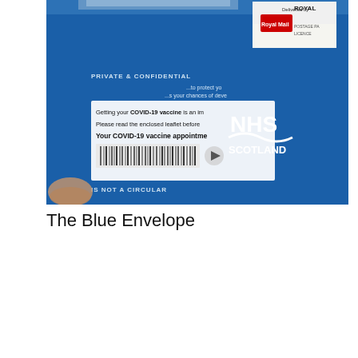[Figure (photo): Photo of a blue NHS Scotland envelope showing 'PRIVATE & CONFIDENTIAL' text, partial text about COVID-19 vaccine appointment, Royal Mail delivery label, and NHS Scotland logo on the right side. A finger is visible at the bottom left. Text on envelope includes 'Getting your COVID-19 vaccine is an im...', 'Please read the enclosed leaflet before...', 'Your COVID-19 vaccine appointme...', 'IS NOT A CIRCULAR'.]
The Blue Envelope
Privacy & Cookies: This site uses cookies. By continuing to use this website, you agree to their use.
To find out more, including how to control cookies, see here: Cookie Policy